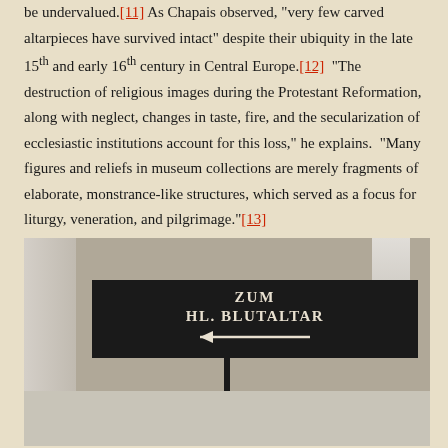be undervalued.[11] As Chapais observed, "very few carved altarpieces have survived intact" despite their ubiquity in the late 15th and early 16th century in Central Europe.[12]  "The destruction of religious images during the Protestant Reformation, along with neglect, changes in taste, fire, and the secularization of ecclesiastic institutions account for this loss," he explains.  "Many figures and reliefs in museum collections are merely fragments of elaborate, monstrance-like structures, which served as a focus for liturgy, veneration, and pilgrimage."[13]
[Figure (photo): A black directional sign reading 'ZUM HL. BLUTALTAR' with a left-pointing arrow, mounted on a post, set in what appears to be a church or museum interior with stone columns and tiled floor.]